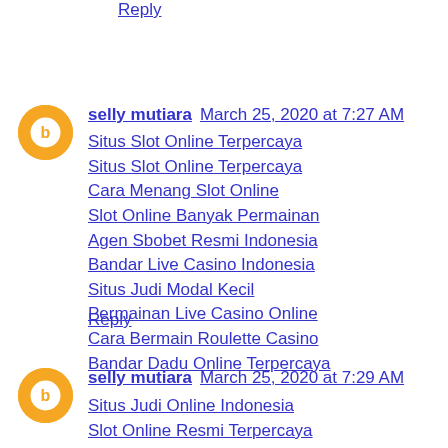Reply
selly mutiara  March 25, 2020 at 7:27 AM
Situs Slot Online Terpercaya
Situs Slot Online Terpercaya
Cara Menang Slot Online
Slot Online Banyak Permainan
Agen Sbobet Resmi Indonesia
Bandar Live Casino Indonesia
Situs Judi Modal Kecil
Permainan Live Casino Online
Cara Bermain Roulette Casino
Bandar Dadu Online Terpercaya
Reply
selly mutiara  March 25, 2020 at 7:29 AM
Situs Judi Online Indonesia
Slot Online Resmi Terpercaya
Taruhan Slot Online Indonesia
Bandar Slot Online Terpercaya